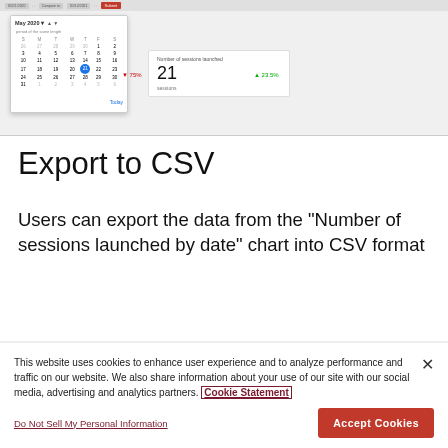[Figure (screenshot): Screenshot of a web analytics interface showing a calendar date picker for May 2020 with day 21 selected, and a 'Number of sessions launched' metric card showing 21 sessions with -75% and +23.5% comparison indicators.]
Export to CSV
Users can export the data from the "Number of sessions launched by date" chart into CSV format
This website uses cookies to enhance user experience and to analyze performance and traffic on our website. We also share information about your use of our site with our social media, advertising and analytics partners. Cookie Statement
Do Not Sell My Personal Information
Accept Cookies